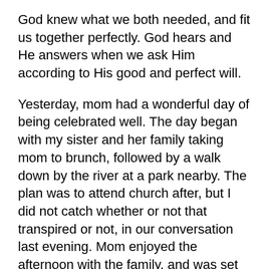God knew what we both needed, and fit us together perfectly. God hears and He answers when we ask Him according to His good and perfect will.
Yesterday, mom had a wonderful day of being celebrated well. The day began with my sister and her family taking mom to brunch, followed by a walk down by the river at a park nearby. The plan was to attend church after, but I did not catch whether or not that transpired or not, in our conversation last evening. Mom enjoyed the afternoon with the family, and was set up with some new technology to aid in the use of her tablet and cell phone. (Meg and family found holders for each that attach